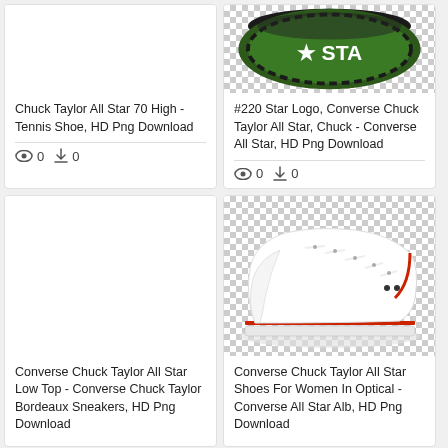[Figure (screenshot): Product card: Chuck Taylor All Star 70 High shoe image (white background)]
Chuck Taylor All Star 70 High - Tennis Shoe, HD Png Download
0  0
[Figure (screenshot): Product card: Star logo Converse image with checker transparent background]
#220 Star Logo, Converse Chuck Taylor All Star, Chuck - Converse All Star, HD Png Download
0  0
[Figure (screenshot): Product card: Converse Chuck Taylor All Star Low Top blank white image]
Converse Chuck Taylor All Star Low Top - Converse Chuck Taylor Bordeaux Sneakers, HD Png Download
[Figure (photo): White Converse Chuck Taylor All Star low top shoe on checkered transparent background]
Converse Chuck Taylor All Star Shoes For Women In Optical - Converse All Star Alb, HD Png Download